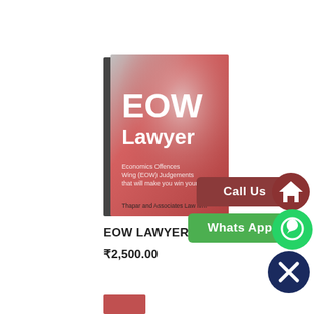[Figure (illustration): Book cover for 'EOW Lawyer' by Thapar and Associates Law firm. Cover has a red/pink gradient background with white text. Title reads 'EOW Lawyer'. Subtitle: 'Economics Offences Wing (EOW) Judgements that will make you win your case'. Publisher: Thapar and Associates Law firm.]
[Figure (other): Dark red rounded rectangle button with white text 'Call Us']
[Figure (other): Green rounded rectangle button with white text 'Whats App']
[Figure (other): Dark red circular home icon button]
[Figure (other): Green circular WhatsApp logo icon]
[Figure (other): Dark navy blue circular close/X icon]
EOW LAWYER
₹2,500.00
[Figure (other): Partially visible book cover at bottom of page]